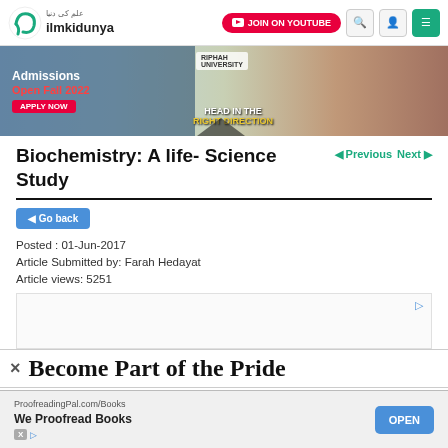ilmkidunya — navigation bar with JOIN ON YOUTUBE button, search, user, and menu icons
[Figure (photo): Riphah University admissions banner: Admissions Open Fall 2022, Apply Now, HEAD IN THE RIGHT DIRECTION]
Biochemistry: A life- Science Study
Previous | Next
◀ Go back
Posted : 01-Jun-2017
Article Submitted by: Farah Hedayat
Article views: 5251
[Figure (screenshot): Advertisement box with ad indicator icon]
× Become Part of the Pride
[Figure (screenshot): ProofreadingPal.com/Books — We Proofread Books — OPEN button advertisement]